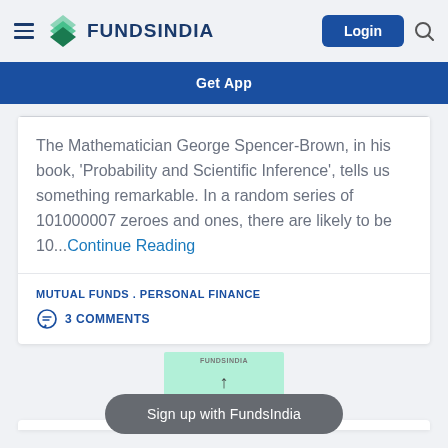FundsIndia
Get App
The Mathematician George Spencer-Brown, in his book, 'Probability and Scientific Inference', tells us something remarkable. In a random series of 101000007 zeroes and ones, there are likely to be 10...Continue Reading
MUTUAL FUNDS . PERSONAL FINANCE
3 COMMENTS
[Figure (logo): FundsIndia logo - green layered leaf icon with dark blue text FUNDSINDIA]
Sign up with FundsIndia